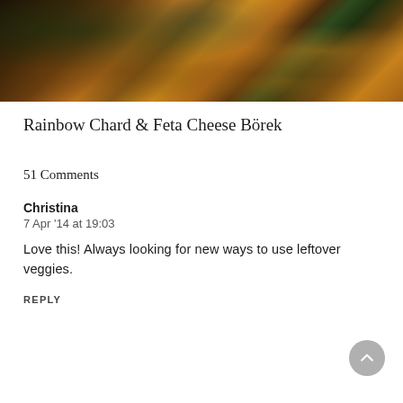[Figure (photo): Close-up photo of Rainbow Chard & Feta Cheese Börek — golden-brown flaky pastry filled with dark leafy greens and white feta cheese, arranged on a dark surface with visible layers of phyllo dough.]
Rainbow Chard & Feta Cheese Börek
51 Comments
Christina
7 Apr '14 at 19:03
Love this! Always looking for new ways to use leftover veggies.
REPLY